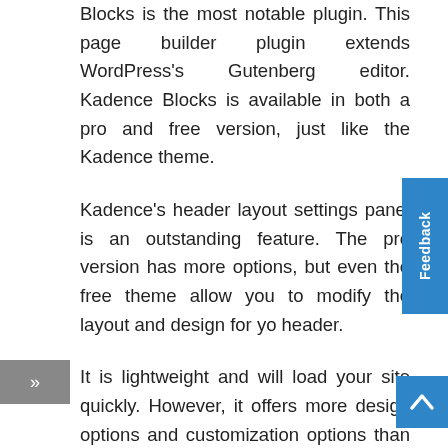Blocks is the most notable plugin. This page builder plugin extends WordPress's Gutenberg editor. Kadence Blocks is available in both a pro and free version, just like the Kadence theme.
Kadence's header layout settings panel is an outstanding feature. The pro version has more options, but even the free theme allows you to modify the layout and design for your header.
It is lightweight and will load your site quickly. However, it offers more design options and customization options than most free themes. Kadence's customization options are what really make it stand out.